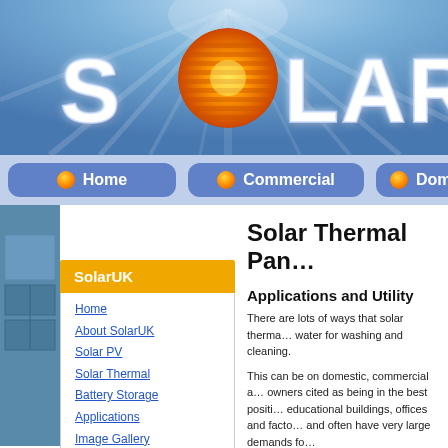[Figure (screenshot): Solar UK website header banner with blue sky background, white ray burst, large white 'SOLAR' text, and orange/yellow striped sun circle logo]
[Figure (screenshot): Navigation bar with three buttons: Home, Commercial, Domestic — blue rounded rectangle buttons with orange dot icons]
[Figure (screenshot): Left sidebar with blue/grey photo panel showing solar panels]
SolarUK
Home
About SolarUK
Solar PV
Solar Thermal
Battery Storage
Applications
Image Gallery
Specification Sheets
Solar Thermal Pan…
Applications and Utility
There are lots of ways that solar therma… water for washing and cleaning.
This can be on domestic, commercial a… owners cited as being in the best positi… educational buildings, offices and facto… and often have very large demands fo…
We have extensive experience in provi…